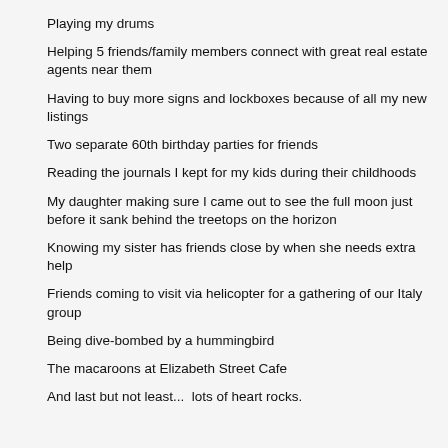Playing my drums
Helping 5 friends/family members connect with great real estate agents near them
Having to buy more signs and lockboxes because of all my new listings
Two separate 60th birthday parties for friends
Reading the journals I kept for my kids during their childhoods
My daughter making sure I came out to see the full moon just before it sank behind the treetops on the horizon
Knowing my sister has friends close by when she needs extra help
Friends coming to visit via helicopter for a gathering of our Italy group
Being dive-bombed by a hummingbird
The macaroons at Elizabeth Street Cafe
And last but not least...  lots of heart rocks.